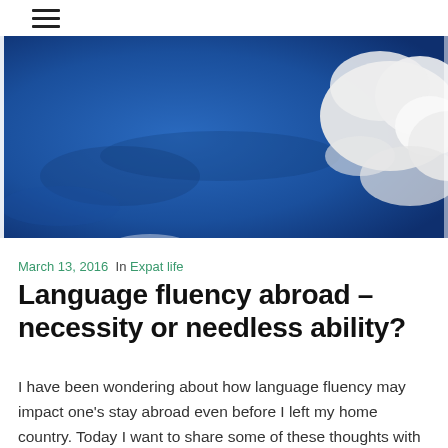≡ (hamburger menu icon)
[Figure (photo): Aerial view of blue sky with scattered white clouds, taken from above, showing cloud formations and dark blue sky/ocean.]
March 13, 2016  In Expat life
Language fluency abroad – necessity or needless ability?
I have been wondering about how language fluency may impact one's stay abroad even before I left my home country. Today I want to share some of these thoughts with you and get